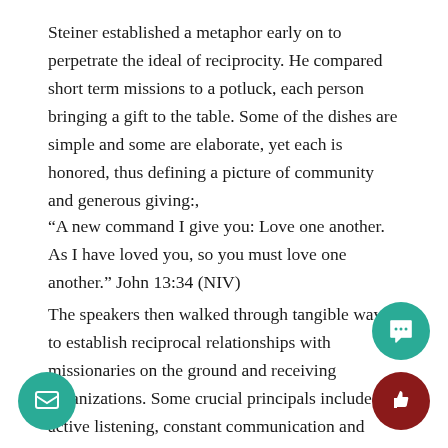Steiner established a metaphor early on to perpetrate the ideal of reciprocity. He compared short term missions to a potluck, each person bringing a gift to the table. Some of the dishes are simple and some are elaborate, yet each is honored, thus defining a picture of community and generous giving:,
“A new command I give you: Love one another. As I have loved you, so you must love one another.” John 13:34 (NIV)
The speakers then walked through tangible ways to establish reciprocal relationships with missionaries on the ground and receiving organizations. Some crucial principals included active listening, constant communication and year-round prayer. American missionaries must be at peace with being told ‘no’ by the people they are serving. For example, listening to the people being served is critical in meeting their needs, even if it means letting go of goals established